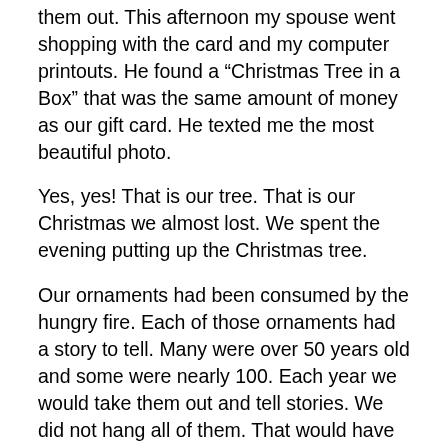them out. This afternoon my spouse went shopping with the card and my computer printouts. He found a “Christmas Tree in a Box” that was the same amount of money as our gift card. He texted me the most beautiful photo.
Yes, yes! That is our tree. That is our Christmas we almost lost. We spent the evening putting up the Christmas tree.
Our ornaments had been consumed by the hungry fire. Each of those ornaments had a story to tell. Many were over 50 years old and some were nearly 100. Each year we would take them out and tell stories. We did not hang all of them. That would have taken a tree worthy of Rockefeller Center.  Sometimes we just kept hanging ornaments until we had no tree left. Other years we would pick through them and decide on a theme. We did gold